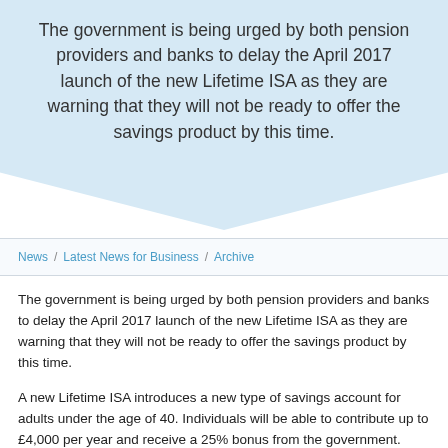The government is being urged by both pension providers and banks to delay the April 2017 launch of the new Lifetime ISA as they are warning that they will not be ready to offer the savings product by this time.
News / Latest News for Business / Archive
The government is being urged by both pension providers and banks to delay the April 2017 launch of the new Lifetime ISA as they are warning that they will not be ready to offer the savings product by this time.
A new Lifetime ISA introduces a new type of savings account for adults under the age of 40. Individuals will be able to contribute up to £4,000 per year and receive a 25% bonus from the government. Funds, including the government bonus, can be used to buy a first home at any time from 12